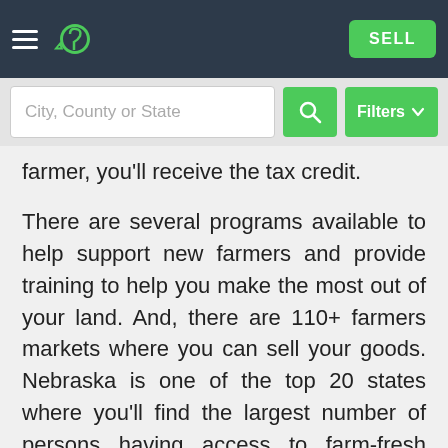Navigation bar with hamburger menu, logo, and SELL button
[Figure (screenshot): Search bar with City, County or State input, search icon button, and Filters dropdown button]
farmer, you'll receive the tax credit.
There are several programs available to help support new farmers and provide training to help you make the most out of your land. And, there are 110+ farmers markets where you can sell your goods. Nebraska is one of the top 20 states where you'll find the largest number of persons having access to farm-fresh foods.
California